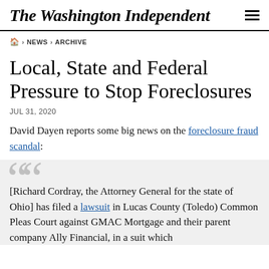The Washington Independent
🏠 › NEWS › ARCHIVE
Local, State and Federal Pressure to Stop Foreclosures
JUL 31, 2020
David Dayen reports some big news on the foreclosure fraud scandal:
[Richard Cordray, the Attorney General for the state of Ohio] has filed a lawsuit in Lucas County (Toledo) Common Pleas Court against GMAC Mortgage and their parent company Ally Financial, in a suit which